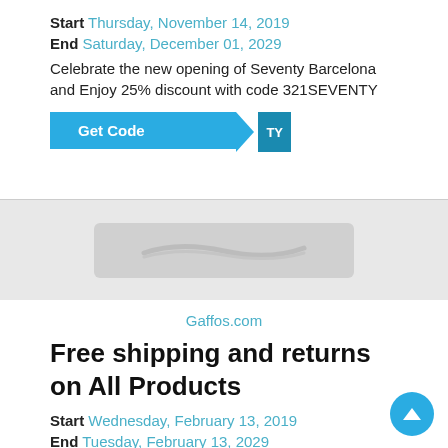Start Thursday, November 14, 2019
End Saturday, December 01, 2029
Celebrate the new opening of Seventy Barcelona and Enjoy 25% discount with code 321SEVENTY
[Figure (other): Get Code button with teal background and folded code reveal]
[Figure (other): Gaffos.com logo placeholder image in gray]
Gaffos.com
Free shipping and returns on All Products
Start Wednesday, February 13, 2019
End Tuesday, February 13, 2029